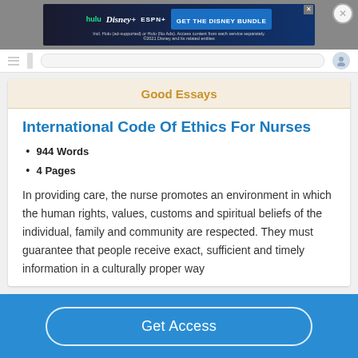[Figure (screenshot): Disney Bundle advertisement banner with Hulu, Disney+, ESPN+ logos and GET THE DISNEY BUNDLE call to action]
Good Essays
International Code Of Ethics For Nurses
944 Words
4 Pages
In providing care, the nurse promotes an environment in which the human rights, values, customs and spiritual beliefs of the individual, family and community are respected. They must guarantee that people receive exact, sufficient and timely information in a culturally proper way
Get Access